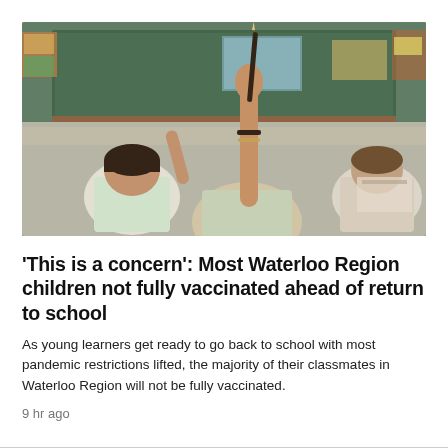[Figure (photo): Classroom scene showing students from behind with hands raised. One student in the center holds a pencil up high. A chalkboard is visible at the front of the classroom.]
'This is a concern': Most Waterloo Region children not fully vaccinated ahead of return to school
As young learners get ready to go back to school with most pandemic restrictions lifted, the majority of their classmates in Waterloo Region will not be fully vaccinated.
9 hr ago